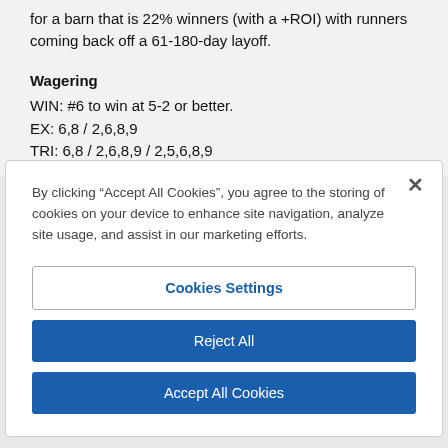for a barn that is 22% winners (with a +ROI) with runners coming back off a 61-180-day layoff.
Wagering
WIN: #6 to win at 5-2 or better.
EX: 6,8 / 2,6,8,9
TRI: 6,8 / 2,6,8,9 / 2,5,6,8,9
By clicking “Accept All Cookies”, you agree to the storing of cookies on your device to enhance site navigation, analyze site usage, and assist in our marketing efforts.
Cookies Settings
Reject All
Accept All Cookies